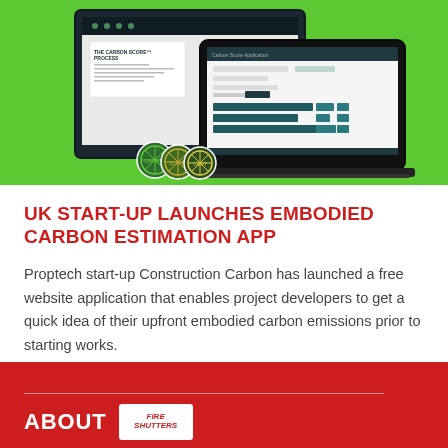[Figure (screenshot): Screenshot of the Construction Carbon web application shown on desktop and laptop devices against a bright green background, with certification badge icons visible in bottom-left corner]
UK START-UP LAUNCHES EMBODIED CARBON ESTIMATION APP
Proptech start-up Construction Carbon has launched a free website application that enables project developers to get a quick idea of their upfront embodied carbon emissions prior to starting works.
ABOUT [Fire Shutters logo]